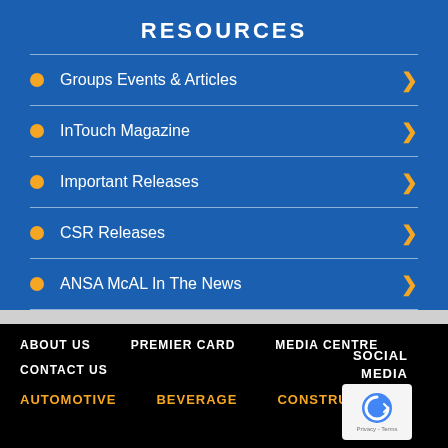RESOURCES
Groups Events & Articles
InTouch Magazine
Important Releases
CSR Releases
ANSA McAL In The News
ABOUT US  PREMIER CARD  MEDIA CENTRE  SOCIAL MEDIA  CONTACT US  AUTOMOTIVE  BEVERAGE  CONSTRUCTION